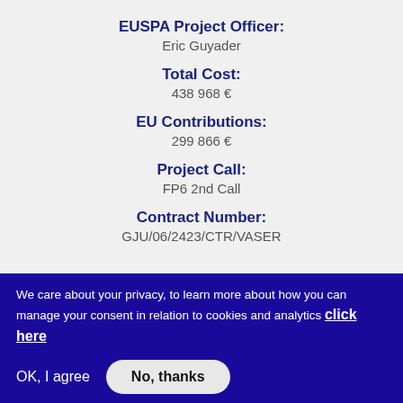EUSPA Project Officer:
Eric Guyader
Total Cost:
438 968 €
EU Contributions:
299 866 €
Project Call:
FP6 2nd Call
Contract Number:
GJU/06/2423/CTR/VASER
We care about your privacy, to learn more about how you can manage your consent in relation to cookies and analytics click here
OK, I agree
No, thanks